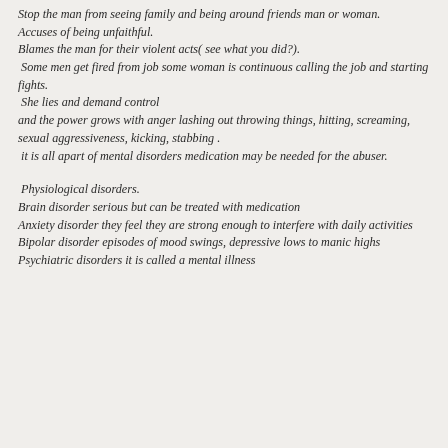Stop the man from seeing family and being around friends man or woman.
Accuses of being unfaithful.
Blames the man for their violent acts( see what you did?).
 Some men get fired from job some woman is continuous calling the job and starting fights.
 She lies and demand control
and the power grows with anger lashing out throwing things, hitting, screaming, sexual aggressiveness, kicking, stabbing .
 it is all apart of mental disorders medication may be needed for the abuser.
Physiological disorders.
Brain disorder serious but can be treated with medication
Anxiety disorder they feel they are strong enough to interfere with daily activities
Bipolar disorder episodes of mood swings, depressive lows to manic highs
Psychiatric disorders it is called a mental illness
...